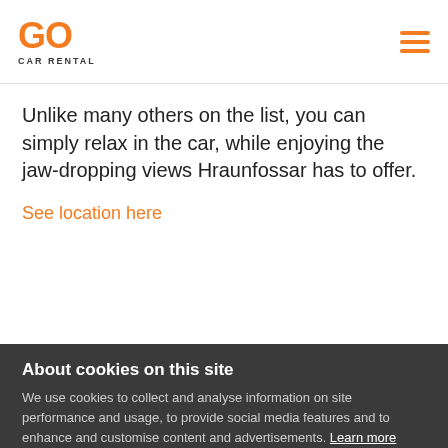GO CAR RENTAL
Unlike many others on the list, you can simply relax in the car, while enjoying the jaw-dropping views Hraunfossar has to offer.
See location here
About cookies on this site
We use cookies to collect and analyse information on site performance and usage, to provide social media features and to enhance and customise content and advertisements. Learn more
ALLOW ALL COOKIES
COOKIE SETTINGS